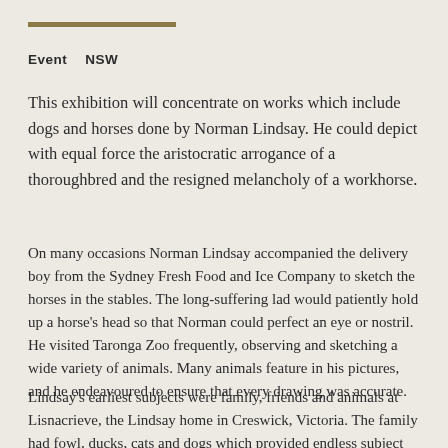Event   NSW
This exhibition will concentrate on works which include dogs and horses done by Norman Lindsay. He could depict with equal force the aristocratic arrogance of a thoroughbred and the resigned melancholy of a workhorse.
On many occasions Norman Lindsay accompanied the delivery boy from the Sydney Fresh Food and Ice Company to sketch the horses in the stables. The long-suffering lad would patiently hold up a horse's head so that Norman could perfect an eye or nostril. He visited Taronga Zoo frequently, observing and sketching a wide variety of animals. Many animals feature in his pictures, and he endeavoured to ensure that every drawing was accurate.
Lindsay's earliest subjects were family, friends and animals at Lisnacrieve, the Lindsay home in Creswick, Victoria. The family had fowl, ducks, cats and dogs which provided endless subject